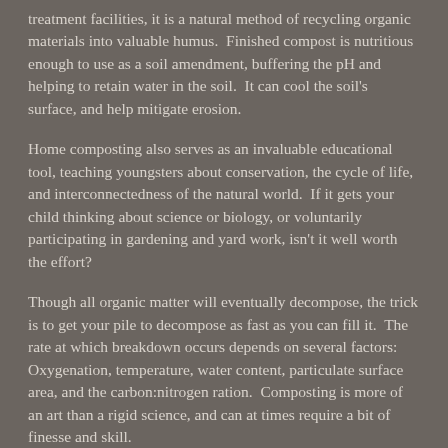treatment facilities, it is a natural method of recycling organic materials into valuable humus. Finished compost is nutritious enough to use as a soil amendment, buffering the pH and helping to retain water in the soil. It can cool the soil's surface, and help mitigate erosion.
Home composting also serves as an invaluable educational tool, teaching youngsters about conservation, the cycle of life, and interconnectedness of the natural world. If it gets your child thinking about science or biology, or voluntarily participating in gardening and yard work, isn't it well worth the effort?
Though all organic matter will eventually decompose, the trick is to get your pile to decompose as fast as you can fill it. The rate at which breakdown occurs depends on several factors: Oxygenation, temperature, water content, particulate surface area, and the carbon:nitrogen ration. Composting is more of an art than a rigid science, and can at times require a bit of finesse and skill. However, with patience and a little practice, you can have ready-to-use humus for your garden in 6-8 weeks.
What to Compost